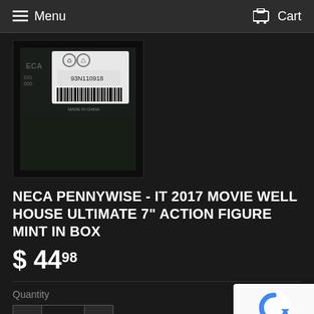Menu  Cart
[Figure (photo): Back of NECA action figure packaging showing barcode 93N110918 and 'MADE IN CHINA' text on dark background]
NECA PENNYWISE - IT 2017 MOVIE WELL HOUSE ULTIMATE 7" ACTION FIGURE MINT IN BOX
$ 44.98
Quantity
- 1 +